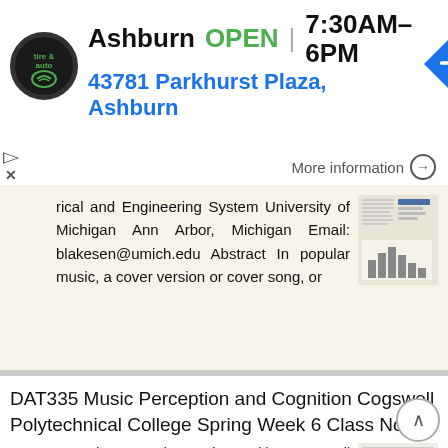[Figure (screenshot): Advertisement banner for a tire and auto shop in Ashburn showing OPEN hours 7:30AM-6PM and address 43781 Parkhurst Plaza, Ashburn, with logo and navigation icon]
rical and Engineering System University of Michigan Ann Arbor, Michigan Email: blakesen@umich.edu Abstract In popular music, a cover version or cover song, or
More information →
DAT335 Music Perception and Cognition Cogswell Polytechnical College Spring Week 6 Class Notes
DAT335 Music Perception and Cognition Cogswell Polytechnical College Spring 2009 Week 6 Class Notes Pitch Perception Introduction Pitch may be described as that attribute of auditory sensation in terms